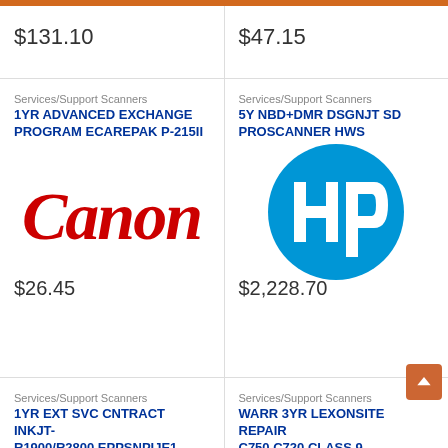$131.10
$47.15
Services/Support Scanners
1YR ADVANCED EXCHANGE PROGRAM ECAREPAK P-215II
[Figure (logo): Canon logo in red italic serif font on white background]
$26.45
Services/Support Scanners
5Y NBD+DMR DSGNJT SD PROSCANNER HWS
[Figure (logo): HP logo - white hp letters on blue circle background]
$2,228.70
Services/Support Scanners
1YR EXT SVC CNTRACT INKJT-R1900/R2800 EPPSNPIJE1
Services/Support Scanners
WARR 3YR LEXONSITE REPAIR C750 C720 CLASS 9